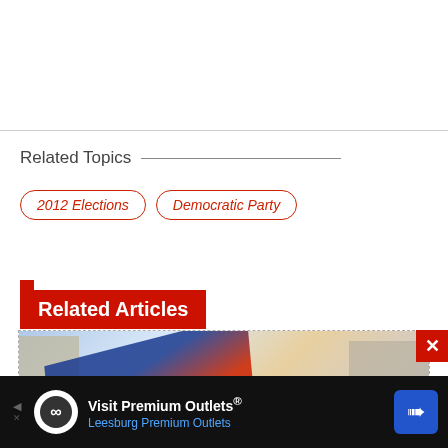Related Topics
2012 Elections
Democratic Party
Related Articles
[Figure (photo): Photo showing blue flags or banners with buildings in the background, partially cropped]
Visit Premium Outlets® Leesburg Premium Outlets